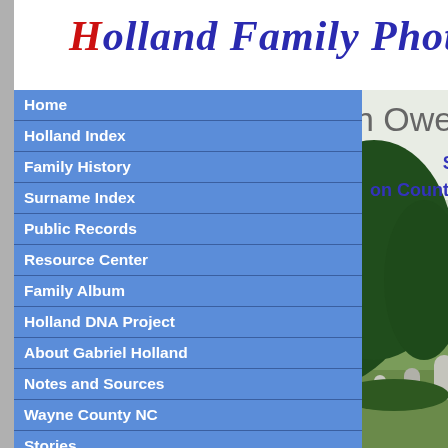Holland Family Photo Album
Owens Cemetery
Saratoga
on County, North Carolina
[Figure (photo): Photograph of Owens Cemetery in Saratoga, North Carolina, showing gravestones and large green trees in the background]
Home
Holland Index
Family History
Surname Index
Public Records
Resource Center
Family Album
Holland DNA Project
About Gabriel Holland
Notes and Sources
Wayne County NC
Stories
Faust Family History
Contact Diana Holland
Site Index
Search Site
Support Site
What's New